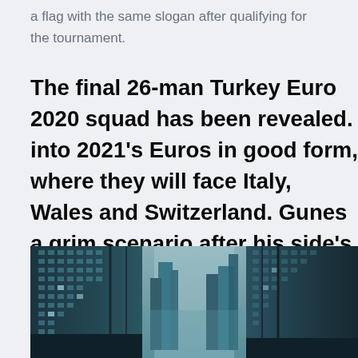a flag with the same slogan after qualifying for the tournament.
The final 26-man Turkey Euro 2020 squad has been revealed. into 2021's Euros in good form, where they will face Italy, Wales and Switzerland. Gunes a grim scenario after his side's terrific qualifying campai
[Figure (photo): Low-angle view looking up at tall city buildings/skyscrapers with a dark teal/blue toned color treatment, sky visible between buildings.]